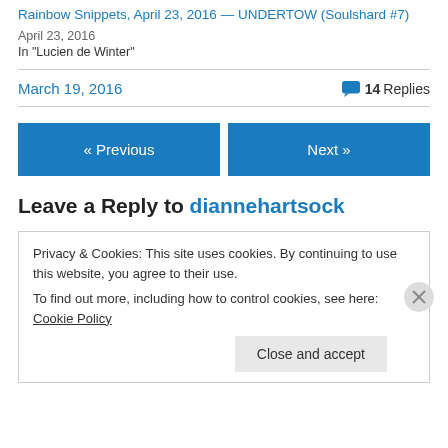Rainbow Snippets, April 23, 2016 - UNDERTOW (Soulshard #7)
April 23, 2016
In "Lucien de Winter"
March 19, 2016
💬 14 Replies
« Previous
Next »
Leave a Reply to diannehartsock
Privacy & Cookies: This site uses cookies. By continuing to use this website, you agree to their use.
To find out more, including how to control cookies, see here: Cookie Policy
Close and accept